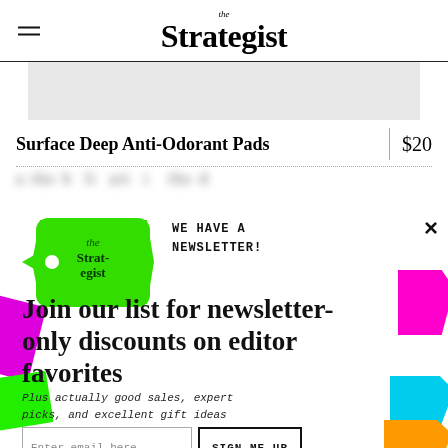the Strategist
Surface Deep Anti-Odorant Pads
$20
[Figure (other): Newsletter popup overlay for The Strategist. Contains a green price-tag logo with 'the Strategist' text, 'WE HAVE A NEWSLETTER!' heading, colorful decorative paper cutout shapes in magenta, green, cyan, and orange at edges, 'Join our list for newsletter-only discounts on editor favorites' headline, 'Plus actually good sales, expert picks, and excellent gift ideas' subtext, email input field and SIGN ME UP button, and NO THANKS strikethrough link.]
WE HAVE A NEWSLETTER!
Join our list for newsletter-only discounts on editor favorites
Plus actually good sales, expert picks, and excellent gift ideas
Enter email here
SIGN ME UP
NO THANKS